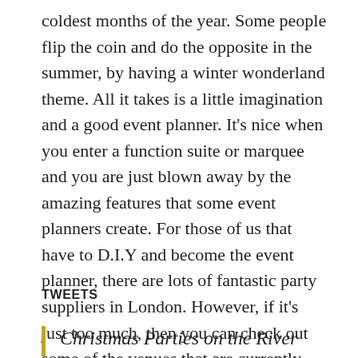coldest months of the year. Some people flip the coin and do the opposite in the summer, by having a winter wonderland theme. All it takes is a little imagination and a good event planner. It's nice when you enter a function suite or marquee and you are just blown away by the amazing features that some event planners create. For those of us that have to D.I.Y and become the event planner, there are lots of fantastic party suppliers in London. However, if it's just too much, then you can check out some of the venues that are currently promoting their Christmas parties on social media.
TWEETS
Christmas Parties on the River